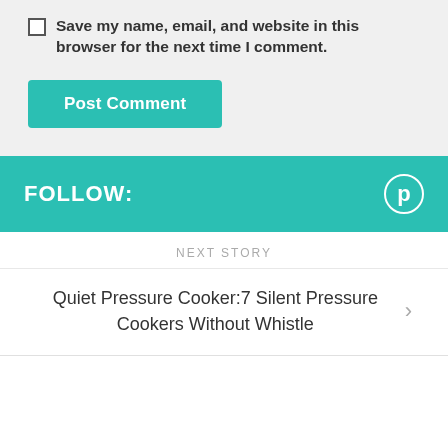Save my name, email, and website in this browser for the next time I comment.
Post Comment
FOLLOW:
NEXT STORY
Quiet Pressure Cooker:7 Silent Pressure Cookers Without Whistle